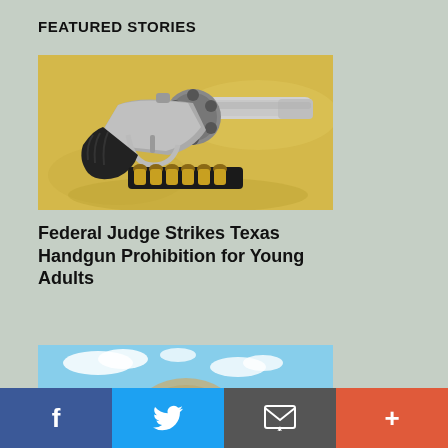FEATURED STORIES
[Figure (photo): A stainless steel revolver handgun lying on a yellow fabric background, with a strip of ammunition below it]
Federal Judge Strikes Texas Handgun Prohibition for Young Adults
[Figure (photo): Partial view of a second article image, showing a blue sky with clouds and a partial dome or structure]
f  [Twitter bird icon]  [Email icon]  +